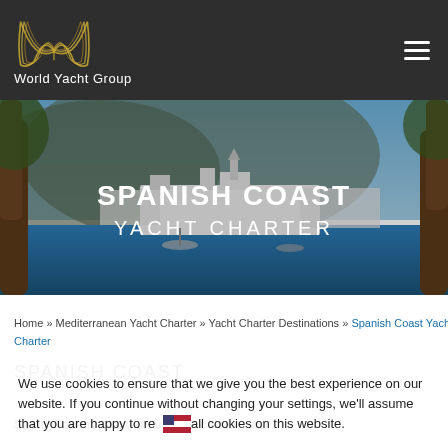[Figure (logo): World Yacht Group logo — golden stylized W shape above text 'World Yacht Group' on dark navbar]
[Figure (photo): Hero banner photo of a Mediterranean coastal town (Cadaqués-style) with white buildings, a harbour with boats, mountains in background, framed by tree trunks. Overlay text reads 'SPANISH COAST YACHT CHARTER']
SPANISH COAST YACHT CHARTER
Home » Mediterranean Yacht Charter » Yacht Charter Destinations » Spanish Coast Yacht Charter
SPANISH COAST
Spain's balmy weather, vibrant culture and
We use cookies to ensure that we give you the best experience on our website. If you continue without changing your settings, we'll assume that you are happy to receive all cookies on this website.